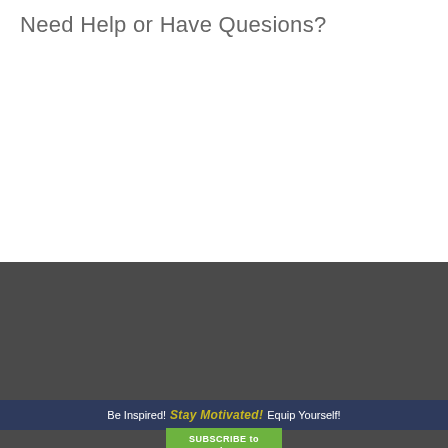Need Help or Have Quesions?
Get In Touch!
The first conversation is always our treat!
(971) 238-8353
Be Inspired!  Stay Motivated!  Equip Yourself!
SUBSCRIBE to the